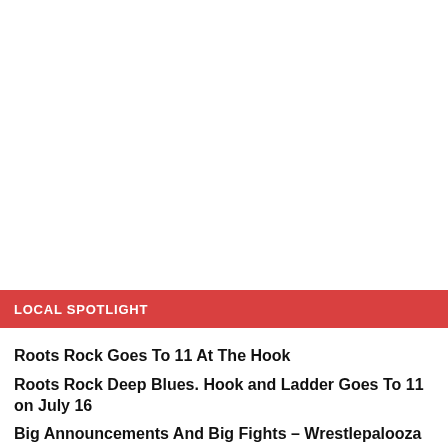LOCAL SPOTLIGHT
Roots Rock Goes To 11 At The Hook
Roots Rock Deep Blues. Hook and Ladder Goes To 11 on July 16
Big Announcements And Big Fights – Wrestlepalooza Remains My Favorite Event Ever!